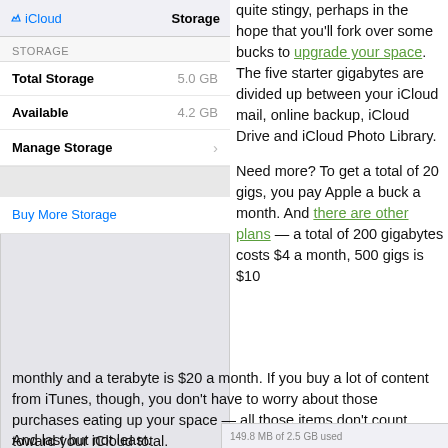[Figure (screenshot): iOS iCloud Storage settings screen showing Total Storage 5.0 GB, Available 4.2 GB, Manage Storage option, Buy More Storage link, and a grey content area below.]
quite stingy, perhaps in the hope that you’ll fork over some bucks to upgrade your space. The five starter gigabytes are divided up between your iCloud mail, online backup, iCloud Drive and iCloud Photo Library.
Need more? To get a total of 20 gigs, you pay Apple a buck a month. And there are other plans — a total of 200 gigabytes costs $4 a month, 500 gigs is $10 monthly and a terabyte is $20 a month. If you buy a lot of content from iTunes, though, you don’t have to worry about those purchases eating up your space — all those items don’t count toward your iCloud total.
And last but not least.
149.8 MB of 2.5 GB used